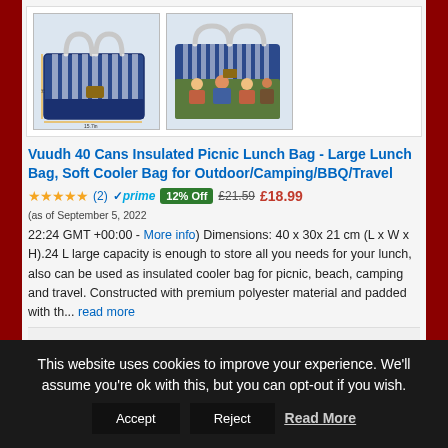[Figure (photo): Two product photos of a navy blue insulated picnic lunch bag. Left image shows bag with dimensions labeled. Right image shows bag open with people at a picnic in the background.]
Vuudh 40 Cans Insulated Picnic Lunch Bag - Large Lunch Bag, Soft Cooler Bag for Outdoor/Camping/BBQ/Travel
★★★★★ (2) ✓prime 12% Off £21.59 £18.99 (as of September 5, 2022 22:24 GMT +00:00 - More info) Dimensions: 40 x 30x 21 cm (L x W x H).24 L large capacity is enough to store all you needs for your lunch, also can be used as insulated cooler bag for picnic, beach, camping and travel. Constructed with premium polyester material and padded with th... read more
This website uses cookies to improve your experience. We'll assume you're ok with this, but you can opt-out if you wish. Accept Reject Read More